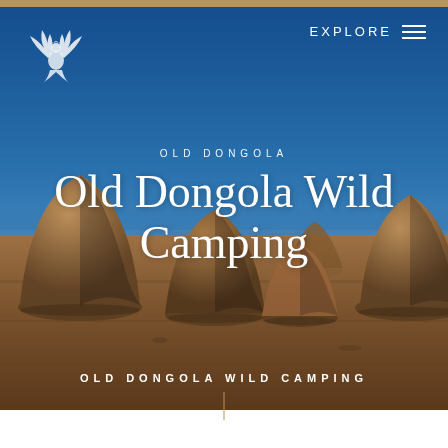[Figure (photo): Desert landscape with large beehive-shaped mudbrick structures under a clear blue sky, Old Dongola, Sudan. Several dome-shaped ancient tombs in a flat arid plain.]
[Figure (logo): White phoenix/bird logo icon on dark blue background]
EXPLORE
OLD DONGOLA
Old Dongola Wild Camping
OLD DONGOLA WILD CAMPING